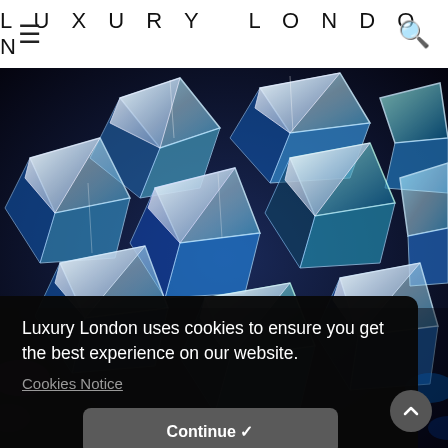LUXURY LONDON
[Figure (photo): Ceiling installation of mirrored geometric diamond/triangular prism shapes lit in blue and teal lighting against a dark background]
Luxury London uses cookies to ensure you get the best experience on our website.
Cookies Notice
Continue ✓